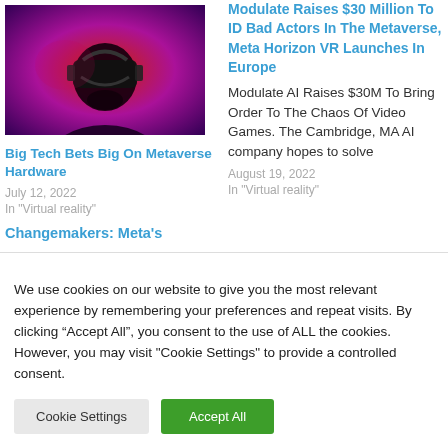[Figure (photo): Man wearing VR headset with dark red/purple atmospheric lighting]
Big Tech Bets Big On Metaverse Hardware
July 12, 2022
In "Virtual reality"
Modulate Raises $30 Million To ID Bad Actors In The Metaverse, Meta Horizon VR Launches In Europe
Modulate AI Raises $30M To Bring Order To The Chaos Of Video Games. The Cambridge, MA AI company hopes to solve
August 19, 2022
In "Virtual reality"
Changemakers: Meta's
We use cookies on our website to give you the most relevant experience by remembering your preferences and repeat visits. By clicking “Accept All”, you consent to the use of ALL the cookies. However, you may visit "Cookie Settings" to provide a controlled consent.